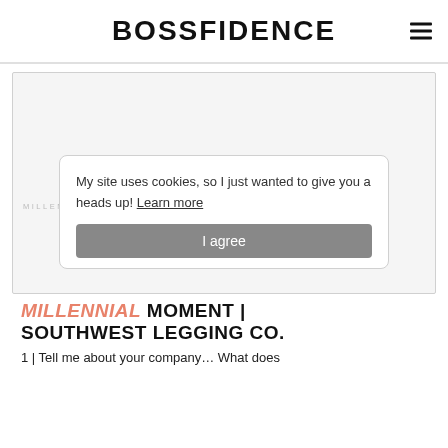BOSSFIDENCE
[Figure (other): Large image placeholder area, light gray background with border]
My site uses cookies, so I just wanted to give you a heads up! Learn more
I agree
MILLENNIAL MOMENT | SOUTHWEST LEGGING CO.
1 | Tell me about your company… What does